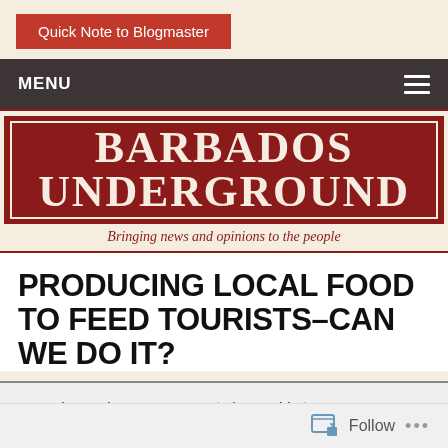Quick Note to Blogmaster
MENU
BARBADOS UNDERGROUND
Bringing news and opinions to the people
PRODUCING LOCAL FOOD TO FEED TOURISTS–CAN WE DO IT?
Posted on February 2, 2015 | by David | 107 comments
[Figure (photo): Partial image strip at bottom of article]
Follow ...